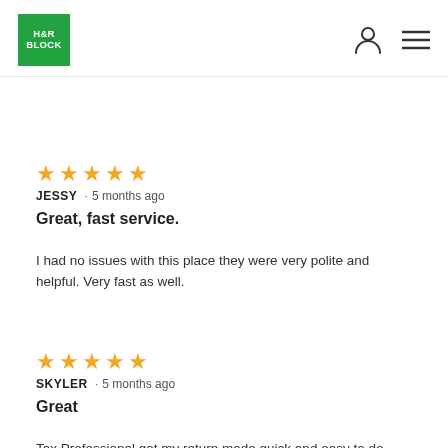[Figure (logo): H&R Block green square logo with white text]
JESSY · 5 months ago
Great, fast service.
I had no issues with this place they were very polite and helpful. Very fast as well.
SKYLER · 5 months ago
Great
Tax Professional got my return made quick and easy to do.